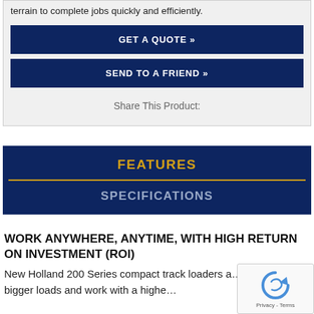terrain to complete jobs quickly and efficiently.
GET A QUOTE »
SEND TO A FRIEND »
Share This Product:
FEATURES
SPECIFICATIONS
WORK ANYWHERE, ANYTIME, WITH HIGH RETURN ON INVESTMENT (ROI)
New Holland 200 Series compact track loaders a… you to move bigger loads and work with a highe…